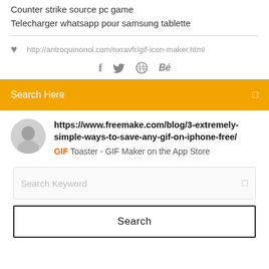Counter strike source pc game
Telecharger whatsapp pour samsung tablette
http://antroquinonol.com/nxravfr/gif-icon-maker.html
[Figure (infographic): Social media icons: Facebook (f), Twitter (bird), Dribbble (ball), Behance (Be)]
Search Here
https://www.freemake.com/blog/3-extremely-simple-ways-to-save-any-gif-on-iphone-free/
GIF Toaster - GIF Maker on the App Store
Search Keyword
Search